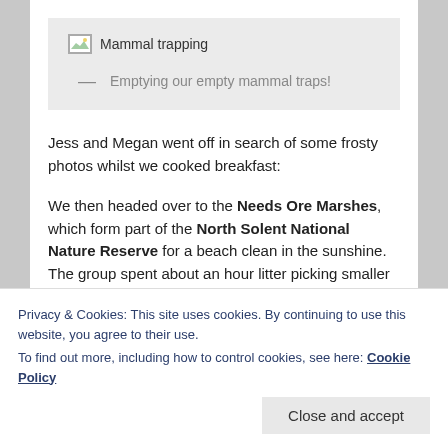[Figure (photo): Broken image placeholder icon labeled 'Mammal trapping']
— Emptying our empty mammal traps!
Jess and Megan went off in search of some frosty photos whilst we cooked breakfast:
We then headed over to the Needs Ore Marshes, which form part of the North Solent National Nature Reserve for a beach clean in the sunshine. The group spent about an hour litter picking smaller items (sadly and not surprisingly there was an awful lot of plastic on the
Privacy & Cookies: This site uses cookies. By continuing to use this website, you agree to their use.
To find out more, including how to control cookies, see here: Cookie Policy
Close and accept